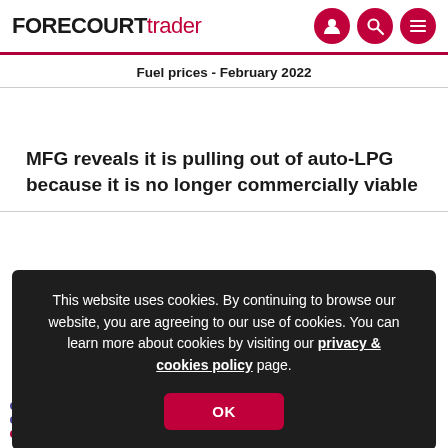FORECOURT trader
Fuel prices - February 2022
MFG reveals it is pulling out of auto-LPG because it is no longer commercially viable
This website uses cookies. By continuing to browse our website, you are agreeing to our use of cookies. You can learn more about cookies by visiting our privacy & cookies policy page.
OK